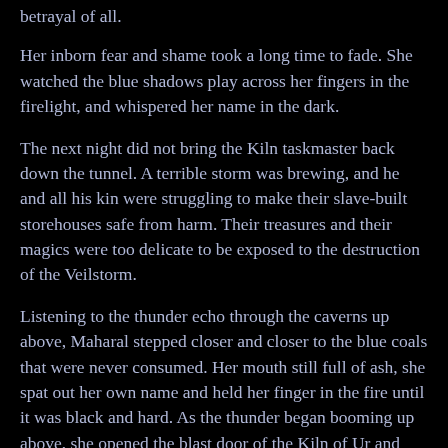betrayal of all.
Her inborn fear and shame took a long time to fade. She watched the blue shadows play across her fingers in the firelight, and whispered her name in the dark.
The next night did not bring the Kiln taskmaster back down the tunnel. A terrible storm was brewing, and he and all his kin were struggling to make their slave-built storehouses safe from harm. Their treasures and their magics were too delicate to be exposed to the destruction of the Veilstorm.
Listening to the thunder echo through the caverns up above, Maharal stepped closer and closer to the blue coals that were never consumed. Her mouth still full of ash, she spat out her own name and held her finger in the fire until it was black and hard. As the thunder began booming up above, she opened the blast door of the Kiln of Ur and entered once again. The heat was intense, and bits of ash billowed through the rarified air like lost souls. The heat cracked Maharal's skin and lit her with flame. She went over to the Golems that lay sleeping,